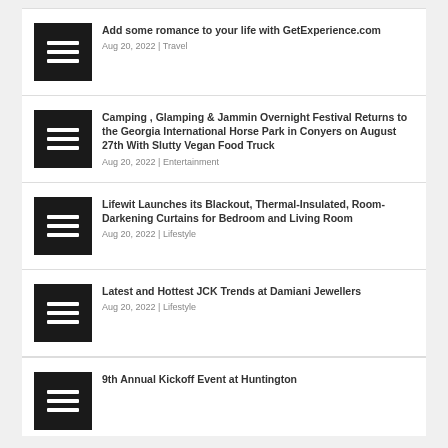Add some romance to your life with GetExperience.com
Aug 20, 2022 | Travel
Camping , Glamping & Jammin Overnight Festival Returns to the Georgia International Horse Park in Conyers on August 27th With Slutty Vegan Food Truck
Aug 20, 2022 | Entertainment
Lifewit Launches its Blackout, Thermal-Insulated, Room-Darkening Curtains for Bedroom and Living Room
Aug 20, 2022 | Lifestyle
Latest and Hottest JCK Trends at Damiani Jewellers
Aug 20, 2022 | Lifestyle
9th Annual Kickoff Event at Huntington